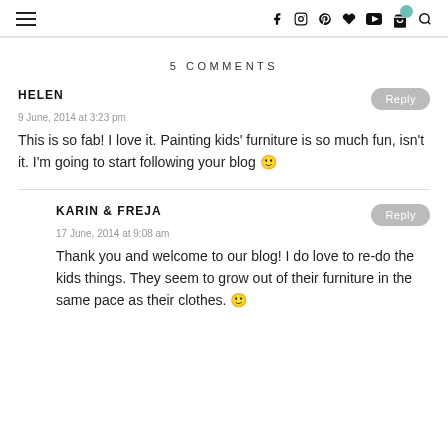Navigation header with hamburger menu and social icons
5 COMMENTS
HELEN
9 June, 2014 at 3:23 pm
This is so fab! I love it. Painting kids' furniture is so much fun, isn't it. I'm going to start following your blog 🙂
KARIN & FREJA
17 June, 2014 at 9:08 am
Thank you and welcome to our blog! I do love to re-do the kids things. They seem to grow out of their furniture in the same pace as their clothes. 🙂